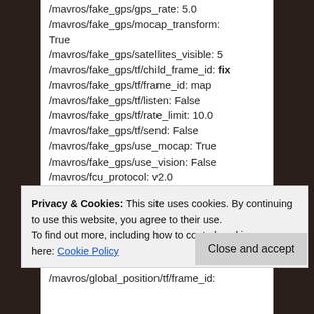/mavros/fake_gps/gps_rate: 5.0
/mavros/fake_gps/mocap_transform: True
/mavros/fake_gps/satellites_visible: 5
/mavros/fake_gps/tf/child_frame_id: fix
/mavros/fake_gps/tf/frame_id: map
/mavros/fake_gps/tf/listen: False
/mavros/fake_gps/tf/rate_limit: 10.0
/mavros/fake_gps/tf/send: False
/mavros/fake_gps/use_mocap: True
/mavros/fake_gps/use_vision: False
/mavros/fcu_protocol: v2.0
/mavros/fcu_url: /dev/ttyACM0:57600
/mavros/gcs_url:
/mavros/global_position/child_frame_id: base_link
Privacy & Cookies: This site uses cookies. By continuing to use this website, you agree to their use.
To find out more, including how to control cookies, see here: Cookie Policy
/mavros/global_position/tf/frame_id: